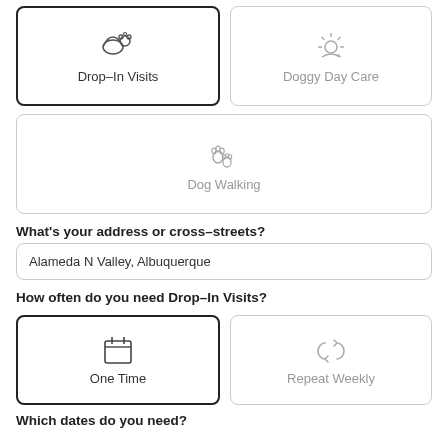[Figure (screenshot): Two service selection cards at top: 'Drop-In Visits' (selected, dark border, with paw/hat icon) and 'Doggy Day Care' (unselected, with sun icon)]
[Figure (screenshot): Service card: 'Dog Walking' (unselected, with paw prints icon)]
What's your address or cross-streets?
Alameda N Valley, Albuquerque
How often do you need Drop-In Visits?
[Figure (screenshot): Two frequency selection cards: 'One Time' (selected, calendar icon) and 'Repeat Weekly' (unselected, repeat arrows icon)]
Which dates do you need?